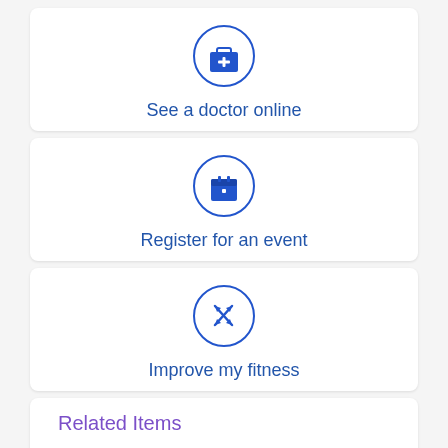[Figure (infographic): Blue circle icon with a medical briefcase/first aid kit with a plus sign, labeled 'See a doctor online']
See a doctor online
[Figure (infographic): Blue circle icon with a calendar/event icon, labeled 'Register for an event']
Register for an event
[Figure (infographic): Blue circle icon with a fitness/dumbbell arrows icon, labeled 'Improve my fitness']
Improve my fitness
Related Items
DISEASES AND CONDITIONS